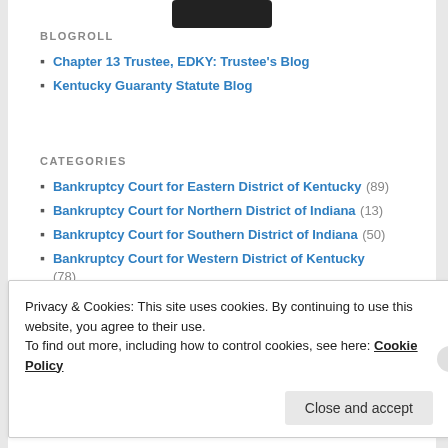[Figure (logo): Dark logo/banner at top]
BLOGROLL
Chapter 13 Trustee, EDKY: Trustee's Blog
Kentucky Guaranty Statute Blog
CATEGORIES
Bankruptcy Court for Eastern District of Kentucky (89)
Bankruptcy Court for Northern District of Indiana (13)
Bankruptcy Court for Southern District of Indiana (50)
Bankruptcy Court for Western District of Kentucky (78)
District Court for Eastern District of Kentucky (10)
District Court for Northern District of Indiana (15)
Privacy & Cookies: This site uses cookies. By continuing to use this website, you agree to their use. To find out more, including how to control cookies, see here: Cookie Policy
Close and accept